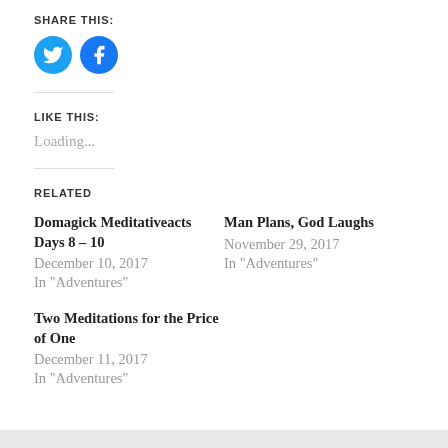SHARE THIS:
[Figure (illustration): Two circular social media share buttons: Twitter (blue bird icon) and Facebook (blue 'f' icon)]
LIKE THIS:
Loading...
RELATED
Domagick Meditativeacts Days 8 – 10
December 10, 2017
In "Adventures"
Man Plans, God Laughs
November 29, 2017
In "Adventures"
Two Meditations for the Price of One
December 11, 2017
In "Adventures"